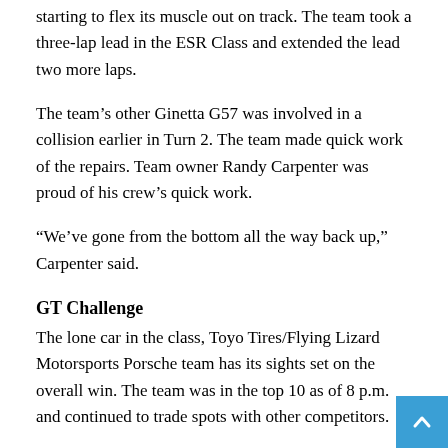starting to flex its muscle out on track. The team took a three-lap lead in the ESR Class and extended the lead two more laps.
The team's other Ginetta G57 was involved in a collision earlier in Turn 2. The team made quick work of the repairs. Team owner Randy Carpenter was proud of his crew's quick work.
“We’ve gone from the bottom all the way back up,” Carpenter said.
GT Challenge
The lone car in the class, Toyo Tires/Flying Lizard Motorsports Porsche team has its sights set on the overall win. The team was in the top 10 as of 8 p.m. and continued to trade spots with other competitors.